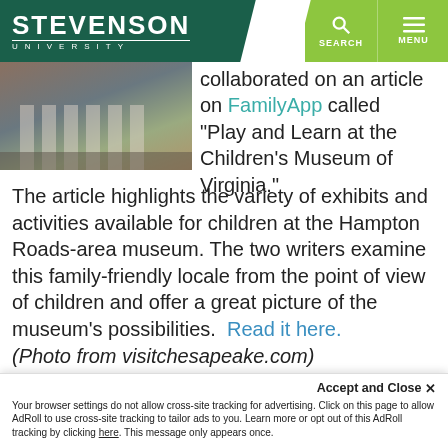[Figure (screenshot): Stevenson University website header with logo on dark teal background and green search/menu buttons]
[Figure (photo): Photo of a building exterior, credited to visitchesapeake.com]
collaborated on an article on FamilyApp called "Play and Learn at the Children's Museum of Virginia."
The article highlights the variety of exhibits and activities available for children at the Hampton Roads-area museum. The two writers examine this family-friendly locale from the point of view of children and offer a great picture of the museum's possibilities.  Read it here. (Photo from visitchesapeake.com)
Keywords: alumni, careers
Accept and Close ✕
Your browser settings do not allow cross-site tracking for advertising. Click on this page to allow AdRoll to use cross-site tracking to tailor ads to you. Learn more or opt out of this AdRoll tracking by clicking here. This message only appears once.